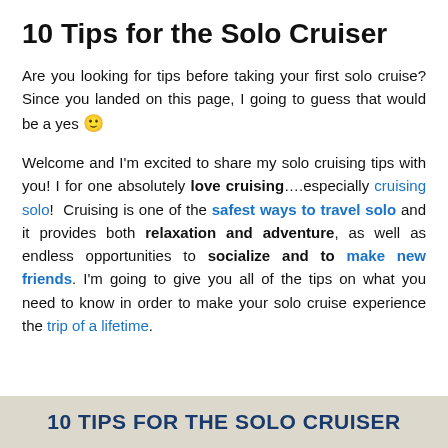10 Tips for the Solo Cruiser
Are you looking for tips before taking your first solo cruise? Since you landed on this page, I going to guess that would be a yes 🙂
Welcome and I'm excited to share my solo cruising tips with you! I for one absolutely love cruising….especially cruising solo! Cruising is one of the safest ways to travel solo and it provides both relaxation and adventure, as well as endless opportunities to socialize and to make new friends. I'm going to give you all of the tips on what you need to know in order to make your solo cruise experience the trip of a lifetime.
10 TIPS FOR THE SOLO CRUISER